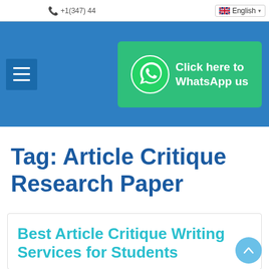+1(347) 44... | English
[Figure (screenshot): Website navigation header with blue background, hamburger menu button on the left, and a green WhatsApp button on the right reading 'Click here to WhatsApp us']
Tag: Article Critique Research Paper
Best Article Critique Writing Services for Students